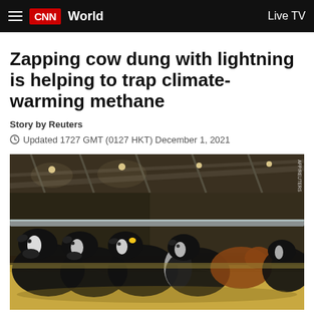CNN World | Live TV
Zapping cow dung with lightning is helping to trap climate-warming methane
Story by Reuters
Updated 1727 GMT (0127 HKT) December 1, 2021
[Figure (photo): Rows of black and white dairy cows feeding on hay inside a large barn/stable facility. The cows are lined up along a feeding barrier, with a metal railing separating them from the feed. The barn has a high roof with industrial lighting. Photo credited to AFP/REUTERS.]